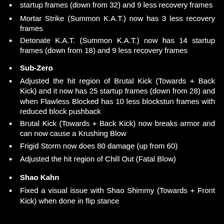startup frames (down from 32) and 9 less recovery frames
Mortar Strike (Summon K.A.T.) now has 3 less recovery frames
Detonate K.A.T. (Summon K.A.T.) now has 14 startup frames (down from 18) and 9 less recovery frames
Sub-Zero
Adjusted the hit region of Brutal Kick (Towards + Back Kick) and it now has 25 startup frames (down from 28) and when Flawless Blocked has 10 less blockstun frames with reduced block pushback
Brutal Kick (Towards + Back Kick) now breaks armor and can now cause a Krushing Blow
Frigid Storm now does 80 damage (up from 60)
Adjusted the hit region of Chill Out (Fatal Blow)
Shao Kahn
Fixed a visual issue with Shao Shimmy (Towards + Front Kick) when done in flip stance